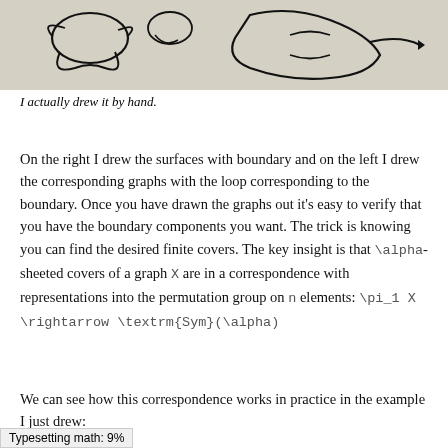[Figure (illustration): Hand-drawn sketch of surfaces with boundary and corresponding graphs with loops, shown on a beige/grey background.]
I actually drew it by hand.
On the right I drew the surfaces with boundary and on the left I drew the corresponding graphs with the loop corresponding to the boundary. Once you have drawn the graphs out it’s easy to verify that you have the boundary components you want. The trick is knowing you can find the desired finite covers. The key insight is that \alpha-sheeted covers of a graph X are in a correspondence with representations into the permutation group on n elements: \pi_1 X \rightarrow \textrm{Sym}(\alpha)
We can see how this correspondence works in practice in the example I just drew:
Typesetting math: 9%